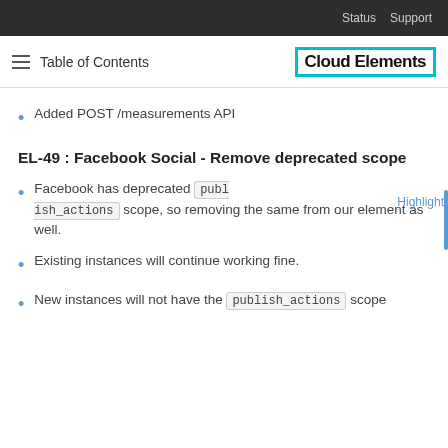Status   Support
≡ Table of Contents   Cloud Elements
Added POST /measurements API
EL-49 : Facebook Social - Remove deprecated scope
Facebook has deprecated publish_actions scope, so removing the same from our element as well.
Existing instances will continue working fine.
New instances will not have the publish_actions scope